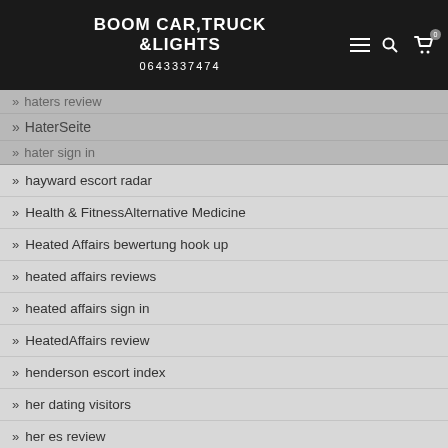BOOM CAR, TRUCK & LIGHTS | 0643337474
haters review
HaterSeite
hater sign in
hayward escort radar
Health & FitnessAlternative Medicine
Heated Affairs bewertung hook up
heated affairs reviews
heated affairs sign in
HeatedAffairs review
henderson escort index
her dating visitors
her es review
her reviews
herpes dating reviews
Herpes Dating site